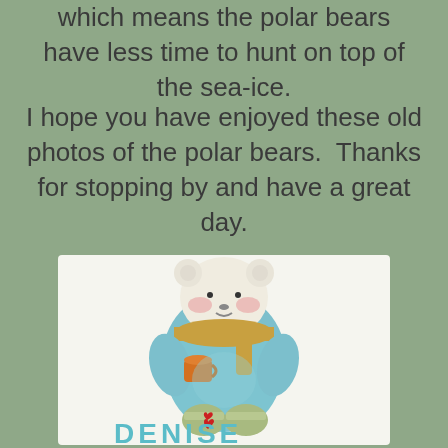which means the polar bears have less time to hunt on top of the sea-ice.
I hope you have enjoyed these old photos of the polar bears.  Thanks for stopping by and have a great day.
[Figure (illustration): Cartoon illustration of a cute polar bear wearing a blue sweater and golden-tan scarf, holding an orange cup, with light green boots. Below the bear is the name 'DENISE' in teal/cyan block letters with a small red heart on the right boot.]